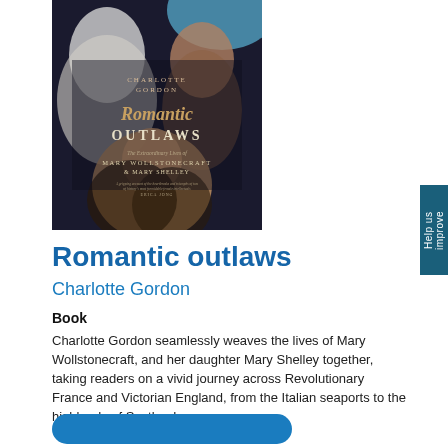[Figure (photo): Book cover of 'Romantic Outlaws: The Extraordinary Lives of Mary Wollstonecraft & Mary Shelley' by Charlotte Gordon. Dark background with painted portraits of two women and stylized script title text.]
Romantic outlaws
Charlotte Gordon
Book
Charlotte Gordon seamlessly weaves the lives of Mary Wollstonecraft, and her daughter Mary Shelley together, taking readers on a vivid journey across Revolutionary France and Victorian England, from the Italian seaports to the highlands of Scotland.